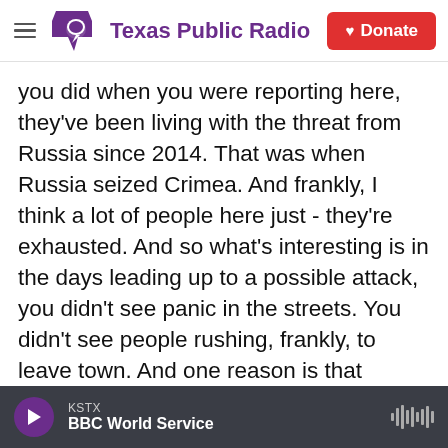Texas Public Radio
you did when you were reporting here, they've been living with the threat from Russia since 2014. That was when Russia seized Crimea. And frankly, I think a lot of people here just - they're exhausted. And so what's interesting is in the days leading up to a possible attack, you didn't see panic in the streets. You didn't see people rushing, frankly, to leave town. And one reason is that despite this massive buildup we've all been following, most people here didn't really think and still don't think that Russia will launch a mass invasion. They think that for Russia it would be too costly and certainly very costly here for Ukrainians in terms of lives
KSTX BBC World Service